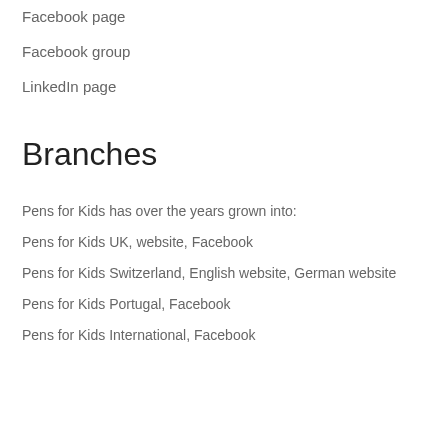Facebook page
Facebook group
LinkedIn page
Branches
Pens for Kids has over the years grown into:
Pens for Kids UK, website, Facebook
Pens for Kids Switzerland, English website, German website
Pens for Kids Portugal, Facebook
Pens for Kids International, Facebook